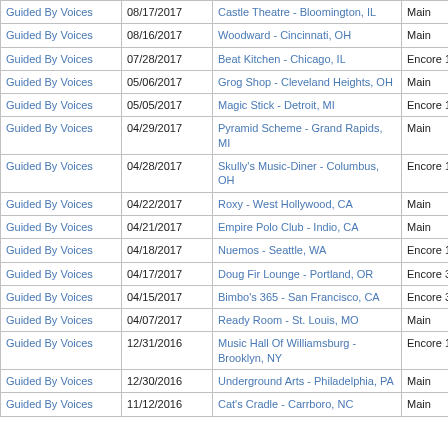| Artist | Date | Venue | Set |  |  |
| --- | --- | --- | --- | --- | --- |
| Guided By Voices | 08/17/2017 | Castle Theatre - Bloomington, IL | Main |  |  |
| Guided By Voices | 08/16/2017 | Woodward - Cincinnati, OH | Main |  |  |
| Guided By Voices | 07/28/2017 | Beat Kitchen - Chicago, IL | Encore 1 |  |  |
| Guided By Voices | 05/06/2017 | Grog Shop - Cleveland Heights, OH | Main |  |  |
| Guided By Voices | 05/05/2017 | Magic Stick - Detroit, MI | Encore 1 |  |  |
| Guided By Voices | 04/29/2017 | Pyramid Scheme - Grand Rapids, MI | Main |  |  |
| Guided By Voices | 04/28/2017 | Skully's Music-Diner - Columbus, OH | Encore 1 |  |  |
| Guided By Voices | 04/22/2017 | Roxy - West Hollywood, CA | Main |  |  |
| Guided By Voices | 04/21/2017 | Empire Polo Club - Indio, CA | Main |  |  |
| Guided By Voices | 04/18/2017 | Nuemos - Seattle, WA | Encore 1 |  |  |
| Guided By Voices | 04/17/2017 | Doug Fir Lounge - Portland, OR | Encore 3 |  |  |
| Guided By Voices | 04/15/2017 | Bimbo's 365 - San Francisco, CA | Encore 3 |  |  |
| Guided By Voices | 04/07/2017 | Ready Room - St. Louis, MO | Main |  |  |
| Guided By Voices | 12/31/2016 | Music Hall Of Williamsburg - Brooklyn, NY | Encore 1 |  |  |
| Guided By Voices | 12/30/2016 | Underground Arts - Philadelphia, PA | Main |  |  |
| Guided By Voices | 11/12/2016 | Cat's Cradle - Carrboro, NC | Main |  |  |